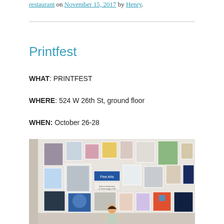restaurant on November 15, 2017 by Henry.
Printfest
WHAT: PRINTFEST
WHERE: 524 W 26th St, ground floor
WHEN: October 26-28
[Figure (photo): Photo of an art gallery wall covered with many prints and artworks, with a person standing in front. A blue 'Fine Arts' sign is visible among the prints.]